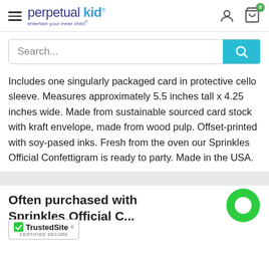perpetual kid — entertain your inner child
Search...
Includes one singularly packaged card in protective cello sleeve. Measures approximately 5.5 inches tall x 4.25 inches wide. Made from sustainable sourced card stock with kraft envelope, made from wood pulp. Offset-printed with soy-pased inks. Fresh from the oven our Sprinkles Official Confettigram is ready to party. Made in the USA.
Often purchased with Sprinkles Official C...
[Figure (other): Green chat bubble icon in bottom right corner]
[Figure (logo): TrustedSite Certified Secure badge]